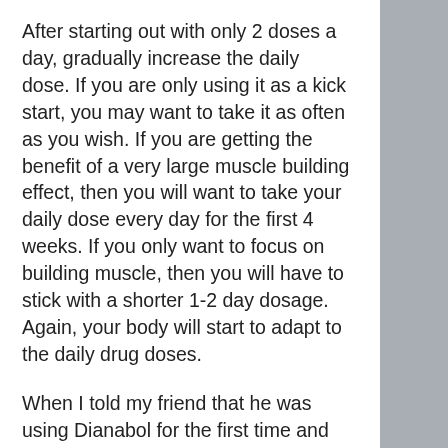After starting out with only 2 doses a day, gradually increase the daily dose. If you are only using it as a kick start, you may want to take it as often as you wish. If you are getting the benefit of a very large muscle building effect, then you will want to take your daily dose every day for the first 4 weeks. If you only want to focus on building muscle, then you will have to stick with a shorter 1-2 day dosage. Again, your body will start to adapt to the daily drug doses.
When I told my friend that he was using Dianabol for the first time and asked him how much he had to take a day to be able to gain mass, he answered, "10 or so"
That's right, 10 or so is most commonly used daily dose for most people, however, this may need to be increased if you are using for the first time. Also, your dosage will need